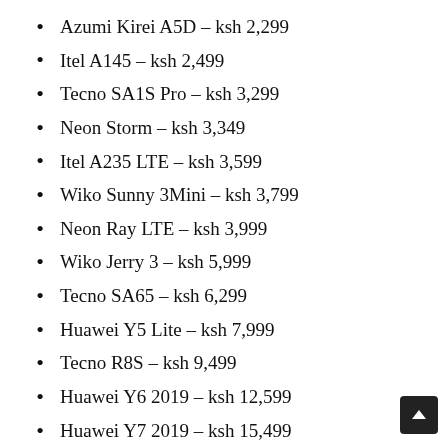Azumi Kirei A5D - ksh 2,299
Itel A145 - ksh 2,499
Tecno SA1S Pro - ksh 3,299
Neon Storm - ksh 3,349
Itel A235 LTE - ksh 3,599
Wiko Sunny 3Mini - ksh 3,799
Neon Ray LTE - ksh 3,999
Wiko Jerry 3 - ksh 5,999
Tecno SA65 - ksh 6,299
Huawei Y5 Lite - ksh 7,999
Tecno R8S - ksh 9,499
Huawei Y6 2019 - ksh 12,599
Huawei Y7 2019 - ksh 15,499
Infinix S4 - ksh 17,049
Samsung Galaxy A30 - ksh 23,199
Tecno phantom 8 - ksh 24,499